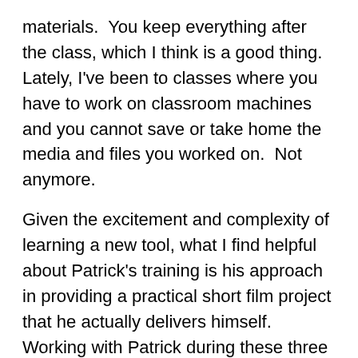materials.  You keep everything after the class, which I think is a good thing. Lately, I've been to classes where you have to work on classroom machines and you cannot save or take home the media and files you worked on.  Not anymore.
Given the excitement and complexity of learning a new tool, what I find helpful about Patrick's training is his approach in providing a practical short film project that he actually delivers himself.  Working with Patrick during these three days of training is like sitting next to him in his studio as an assistant. I took an early version of this course without Patrick around, and I wish I could have had him in the room with me for three days. Now he's coming to Austin, so I'll be there assisting Patrick and learning too! Always learning.
Who should consider participating in Colorist